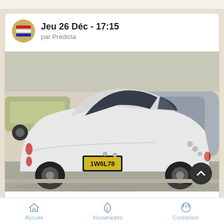Jeu 26 Déc - 17:15
par Predicta
[Figure (photo): Rear view of a classic white custom car (hot rod / custom) with license plate 1W6L78, parked on a street. Another grey/silver classic car is visible behind it. Modern cars and a building are in the background.]
Accueil   Nouveautés   Connexion